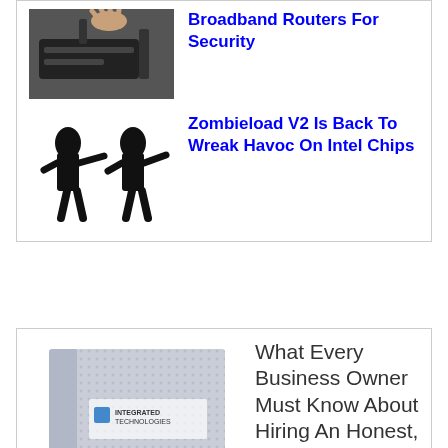[Figure (photo): Thumbnail photo of a broadband router with a hand]
Broadband Routers For Security
[Figure (illustration): Zombie silhouette icons illustration]
Zombieload V2 Is Back To Wreak Havoc On Intel Chips
[Figure (photo): IT Business Advisory Guide book cover by Integrated Technologies]
What Every Business Owner Must Know About Hiring An Honest, Competent, Responsive And Fairly Priced Computer Consultant
Don't Trust Your Company's Critical Data And Operations To Just Anyone! This Business Advisory Guide Will Arm You With 18 Revealing Questions You Should Ask Any Computer Consultant Before Giving